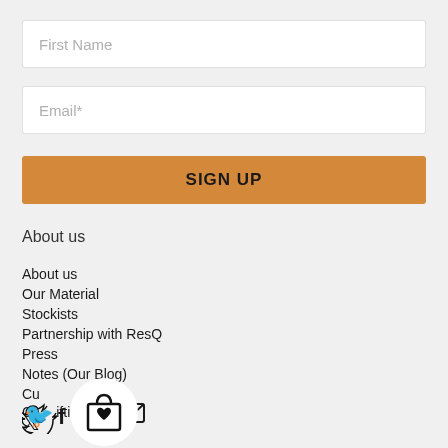First Name
Email*
SIGN UP
About us
About us
Our Material
Stockists
Partnership with ResQ
Press
Notes (Our Blog)
Cu…
Co… ifting
[Figure (illustration): Social media icons: Twitter bird, Facebook f, Instagram camera, email envelope; plus a shopping bag with heart icon overlay circle]